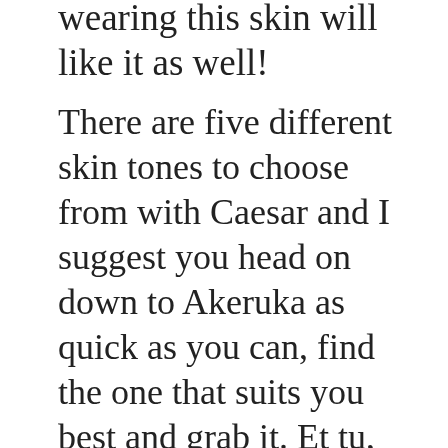wearing this skin will like it as well!
There are five different skin tones to choose from with Caesar and I suggest you head on down to Akeruka as quick as you can, find the one that suits you best and grab it. Et tu, Brute.
Get the gear here: Akeruka
Tagged akeruka, AustSteve Forster, Pure Eggs & Spam, second life, Second